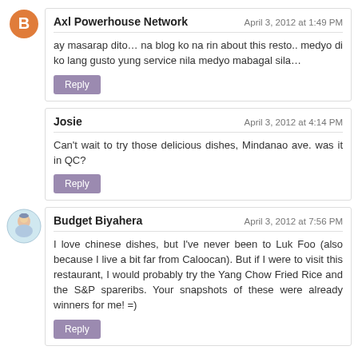Axl Powerhouse Network
April 3, 2012 at 1:49 PM
ay masarap dito… na blog ko na rin about this resto.. medyo di ko lang gusto yung service nila medyo mabagal sila…
Reply
Josie
April 3, 2012 at 4:14 PM
Can't wait to try those delicious dishes, Mindanao ave. was it in QC?
Reply
Budget Biyahera
April 3, 2012 at 7:56 PM
I love chinese dishes, but I've never been to Luk Foo (also because I live a bit far from Caloocan). But if I were to visit this restaurant, I would probably try the Yang Chow Fried Rice and the S&P spareribs. Your snapshots of these were already winners for me! =)
Reply